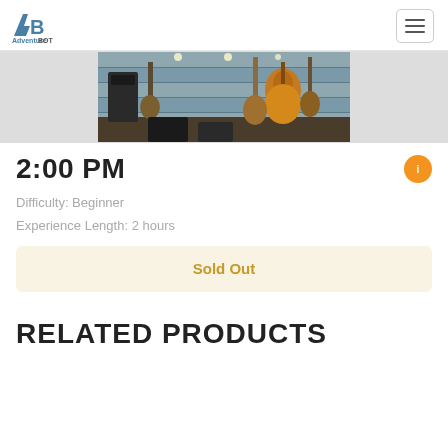AdventureBOT
[Figure (photo): Guitar shop interior with guitars hanging on wall]
2:00 PM
Difficulty: Beginner
Experience Length: 2 hours
Sold Out
RELATED PRODUCTS